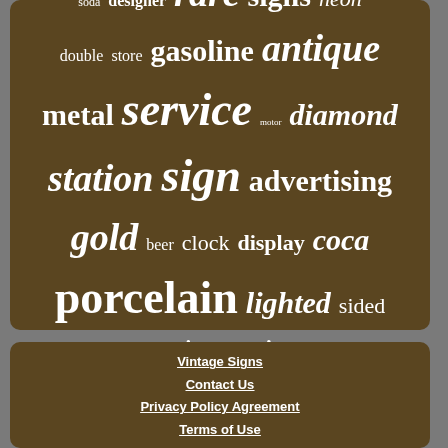[Figure (infographic): Tag cloud on brown rounded rectangle background with words: soda, designer, rare, signs, neon, double, store, gasoline, antique, metal, service, motor, diamond, station, sign, advertising, gold, beer, clock, display, coca, porcelain, lighted, sided, earrings, large, ring]
Vintage Signs
Contact Us
Privacy Policy Agreement
Terms of Use